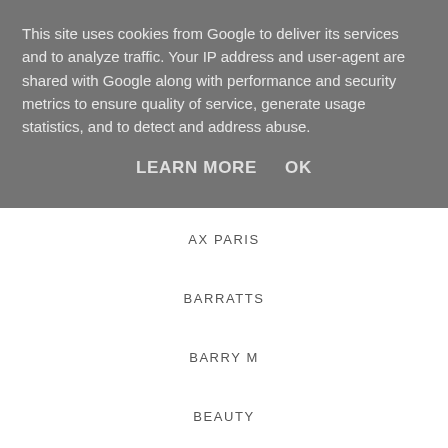This site uses cookies from Google to deliver its services and to analyze traffic. Your IP address and user-agent are shared with Google along with performance and security metrics to ensure quality of service, generate usage statistics, and to detect and address abuse.
LEARN MORE   OK
AX PARIS
BARRATTS
BARRY M
BEAUTY
BIK BOK
BIRTHDAY
BISCUITS
BLOGGER MEETS
BLOGMAS